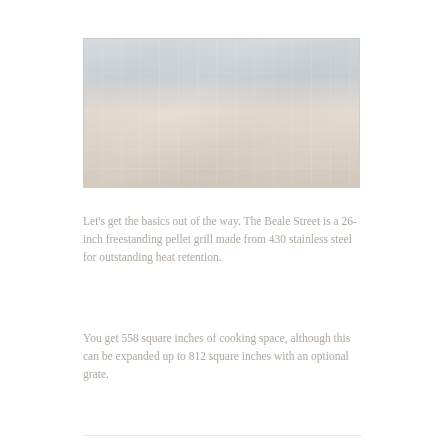[Figure (photo): Faded/washed-out photo of a freestanding pellet grill on an outdoor deck with white railings]
Let's get the basics out of the way. The Beale Street is a 26-inch freestanding pellet grill made from 430 stainless steel for outstanding heat retention.
You get 558 square inches of cooking space, although this can be expanded up to 812 square inches with an optional grate.